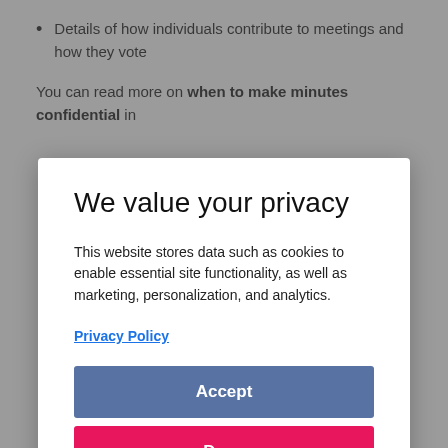Details of how individuals contribute to meetings and how they vote
You can read more on when to make minutes confidential in
We value your privacy
This website stores data such as cookies to enable essential site functionality, as well as marketing, personalization, and analytics.
Privacy Policy
Accept
Deny